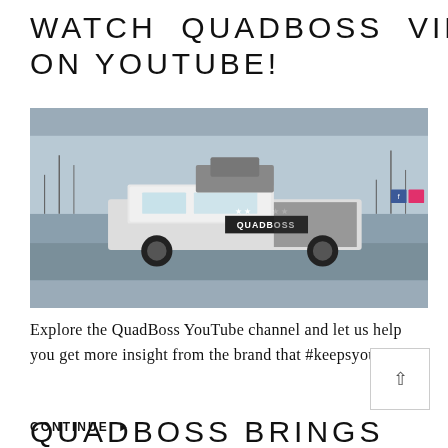WATCH QUADBOSS VIDEOS ON YOUTUBE!
[Figure (screenshot): Screenshot of the QuadBossProducts YouTube channel page showing a banner image of a QuadBoss branded truck, the channel logo (yellow circle), channel name 'QuadBossProducts', subscriber count, and a SUBSCRIBED button.]
Explore the QuadBoss YouTube channel and let us help you get more insight from the brand that #keepsyouriding!
CONTINUE ▶
QUADBOSS BRINGS IN SOME FRESH RUBBER!